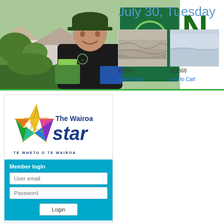[Figure (photo): Countdown grocery delivery person in dark uniform holding groceries, with Countdown branded green van/sign in background. Countdown.co.nz website URL visible. Banner with partial letter 'N' in dark green on right side.]
[Figure (logo): The Wairoa Star newspaper logo with rainbow star graphic and text 'The Wairoa Star' and tagline 'TE WHETU O TE WAIROA']
July 30, Tuesday
Member login
User email
Password
Login
[Figure (photo): Sand or sediment aerial/close-up photo]
#23567
Add to Cart
[Figure (photo): Water/lake/estuary landscape photo]
#23568
Add to Cart